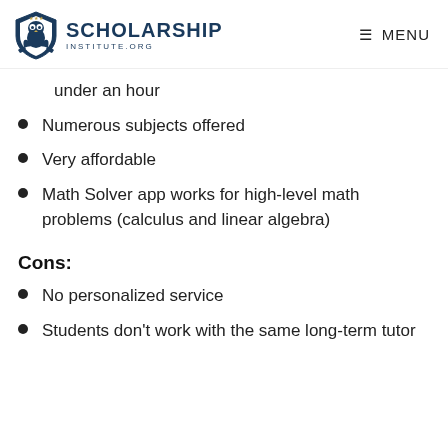SCHOLARSHIP INSTITUTE.ORG  MENU
under an hour
Numerous subjects offered
Very affordable
Math Solver app works for high-level math problems (calculus and linear algebra)
Cons:
No personalized service
Students don't work with the same long-term tutor